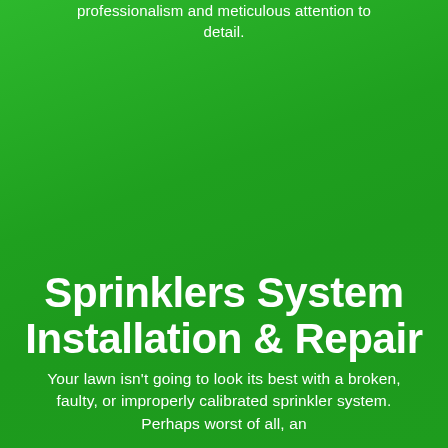professionalism and meticulous attention to detail.
Sprinklers System Installation & Repair
Your lawn isn't going to look its best with a broken, faulty, or improperly calibrated sprinkler system. Perhaps worst of all, an ineffective sprinkler system...